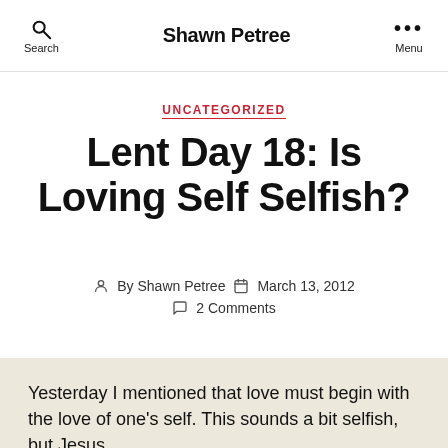Search | Shawn Petree | Menu
UNCATEGORIZED
Lent Day 18: Is Loving Self Selfish?
By Shawn Petree   March 13, 2012   2 Comments
Yesterday I mentioned that love must begin with the love of one's self. This sounds a bit selfish, but Jesus